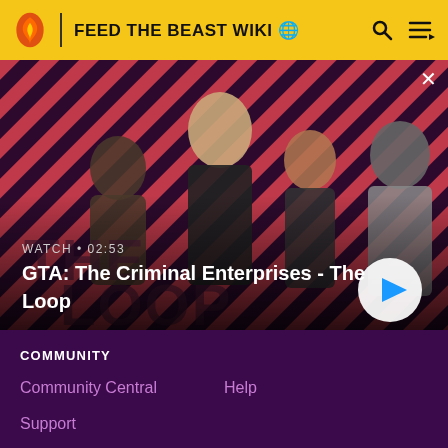FEED THE BEAST WIKI
[Figure (screenshot): GTA: The Criminal Enterprises - The Loop video thumbnail showing four game characters on a diagonal striped red/dark background. Text overlay reads 'WATCH • 02:53' and 'GTA: The Criminal Enterprises - The Loop' with a play button.]
COMMUNITY
Community Central
Help
Support